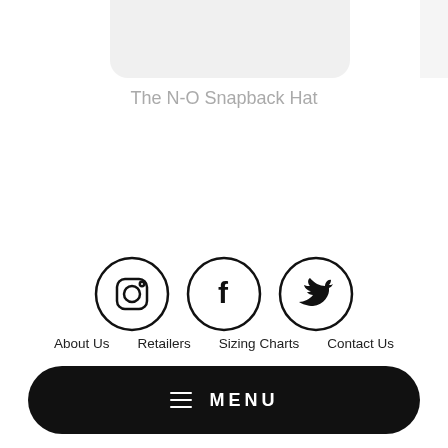[Figure (photo): Partial product image of a hat at the top of the page, cropped, shown against a light gray background]
The N-O Snapback Hat
[Figure (other): Three social media icon circles: Instagram, Facebook, Twitter]
About Us
Retailers
Sizing Charts
Contact Us
Shipping & Order Tracking
Refund Policy
Legal
MENU